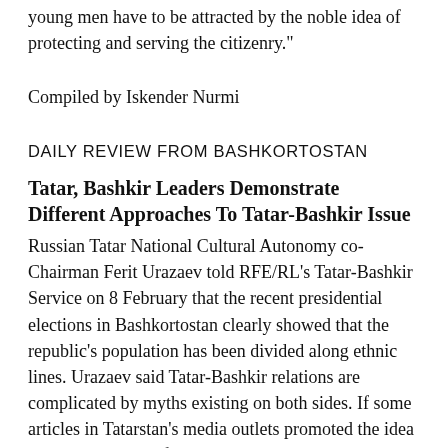young men have to be attracted by the noble idea of protecting and serving the citizenry."
Compiled by Iskender Nurmi
DAILY REVIEW FROM BASHKORTOSTAN
Tatar, Bashkir Leaders Demonstrate Different Approaches To Tatar-Bashkir Issue
Russian Tatar National Cultural Autonomy co-Chairman Ferit Urazaev told RFE/RL's Tatar-Bashkir Service on 8 February that the recent presidential elections in Bashkortostan clearly showed that the republic's population has been divided along ethnic lines. Urazaev said Tatar-Bashkir relations are complicated by myths existing on both sides. If some articles in Tatarstan's media outlets promoted the idea that there is not in fact any Bashkir nation,